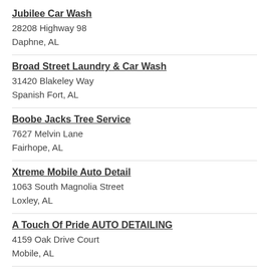Jubilee Car Wash
28208 Highway 98
Daphne, AL
Broad Street Laundry & Car Wash
31420 Blakeley Way
Spanish Fort, AL
Boobe Jacks Tree Service
7627 Melvin Lane
Fairhope, AL
Xtreme Mobile Auto Detail
1063 South Magnolia Street
Loxley, AL
A Touch Of Pride AUTO DETAILING
4159 Oak Drive Court
Mobile, AL
Awesome Shine Auto Detail